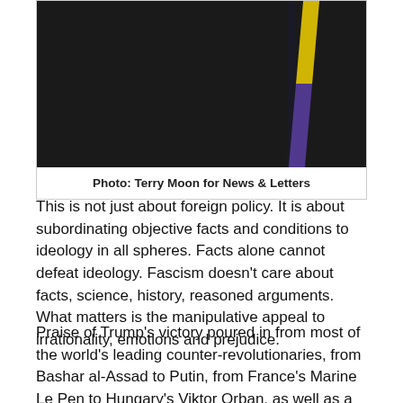[Figure (photo): A dark photograph showing a person wearing a yellow and purple sash or ribbon, against a very dark background.]
Photo: Terry Moon for News & Letters
This is not just about foreign policy. It is about subordinating objective facts and conditions to ideology in all spheres. Facts alone cannot defeat ideology. Fascism doesn’t care about facts, science, history, reasoned arguments. What matters is the manipulative appeal to irrationality, emotions and prejudice.
Praise of Trump’s victory poured in from most of the world’s leading counter-revolutionaries, from Bashar al-Assad to Putin, from France’s Marine Le Pen to Hungary’s Viktor Orban, as well as a big “heil” at home